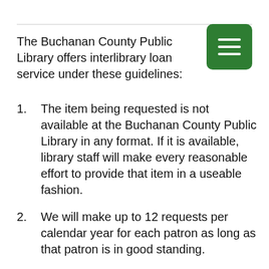The Buchanan County Public Library offers interlibrary loan service under these guidelines:
The item being requested is not available at the Buchanan County Public Library in any format. If it is available, library staff will make every reasonable effort to provide that item in a useable fashion.
We will make up to 12 requests per calendar year for each patron as long as that patron is in good standing.
Borrowing institutes are allowed up to 12 loans per year as long as they maintain good partner standing.
Loans to institutions outside our contract area